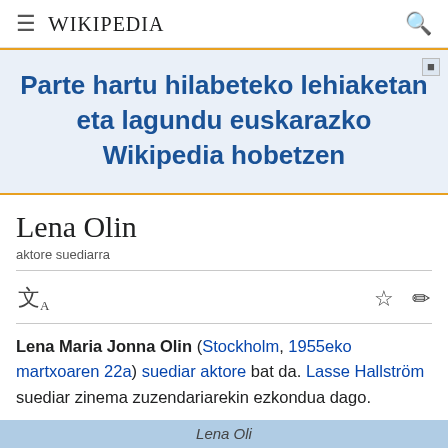≡ WIKIPEDIA 🔍
Parte hartu hilabeteko lehiaketan eta lagundu euskarazko Wikipedia hobetzen
Lena Olin
aktore suediarra
Lena Maria Jonna Olin (Stockholm, 1955eko martxoaren 22a) suediar aktore bat da. Lasse Hallström suediar zinema zuzendariarekin ezkondua dago.
[Figure (screenshot): Partial bottom of infobox with blue background showing 'Lena Oli...' text]